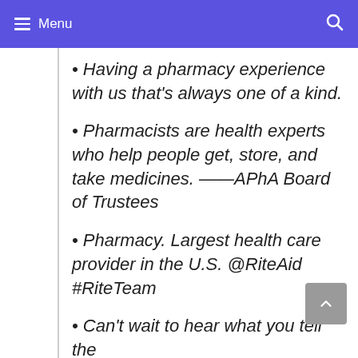Menu
Having a pharmacy experience with us that's always one of a kind.
Pharmacists are health experts who help people get, store, and take medicines. ——APhA Board of Trustees
Pharmacy. Largest health care provider in the U.S. @RiteAid #RiteTeam
Can't wait to hear what you tell the